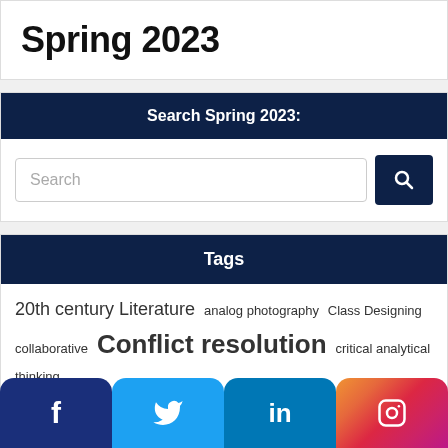Spring 2023
Search Spring 2023:
Tags
20th century Literature  analog photography  Class Designing  collaborative  Conflict resolution  critical analytical thinking  critical race theory  dance improvisation  Diversity  Experimental literature  Experimentation  fantasy  Festival  fiction  gender studies  Global Music  guitar  Harlem